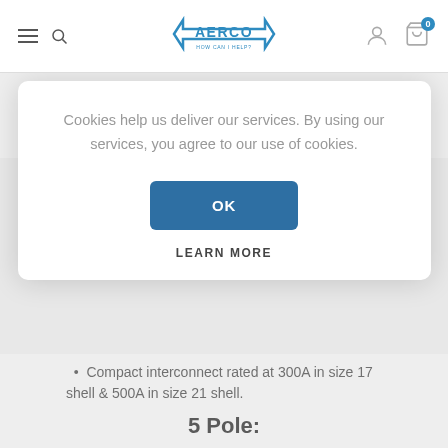AERCO — HOW CAN I HELP?
latch to un-mate design.
Low resistance hyperboloid contacts minimize resistive losses.
Cookies help us deliver our services. By using our services, you agree to our use of cookies.
OK
LEARN MORE
Compact interconnect rated at 300A in size 17 shell & 500A in size 21 shell.
5 Pole: